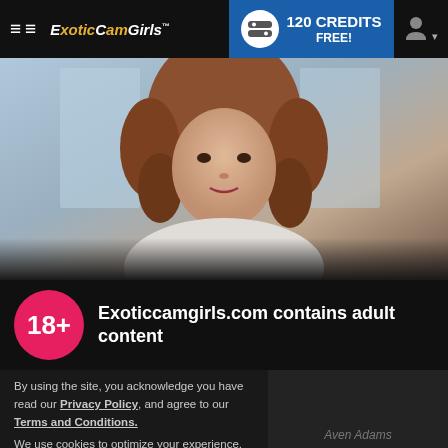ExoticCamGirls — 120 CREDITS FREE!
[Figure (photo): Young woman with curly auburn hair looking toward camera, blurred urban background]
Exoticcamgirls.com contains adult content
By using the site, you acknowledge you have read our Privacy Policy, and agree to our Terms and Conditions.
We use cookies to optimize your experience, analyze traffic, and deliver more personalized service. To learn more, please see our Privacy Policy.
I AGREE